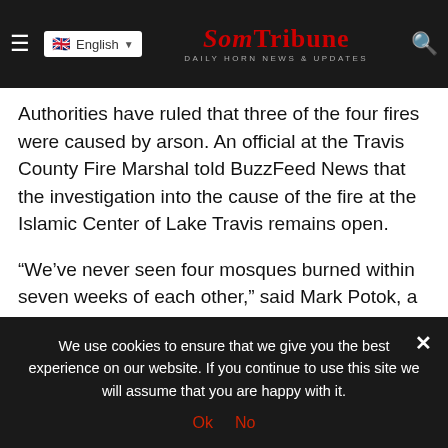English | SomTribune Daily Horn News & Updates
Authorities have ruled that three of the four fires were caused by arson. An official at the Travis County Fire Marshal told BuzzFeed News that the investigation into the cause of the fire at the Islamic Center of Lake Travis remains open.
“We’ve never seen four mosques burned within seven weeks of each other,” said Mark Potok, a senior fellow at the Southern Poverty Law Center, which tracks hate groups around the country. “It’s part of a whole series of dramatic attacks on Muslims.”
We use cookies to ensure that we give you the best experience on our website. If you continue to use this site we will assume that you are happy with it. Ok No